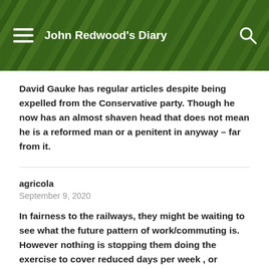John Redwood's Diary
David Gauke has regular articles despite being expelled from the Conservative party. Though he now has an almost shaven head that does not mean he is a reformed man or a penitent in anyway – far from it.
agricola
September 9, 2020
In fairness to the railways, they might be waiting to see what the future pattern of work/commuting is. However nothing is stopping them doing the exercise to cover reduced days per week , or staggered hours working. Having the figures would help both employer and employee arrive at an agreement on